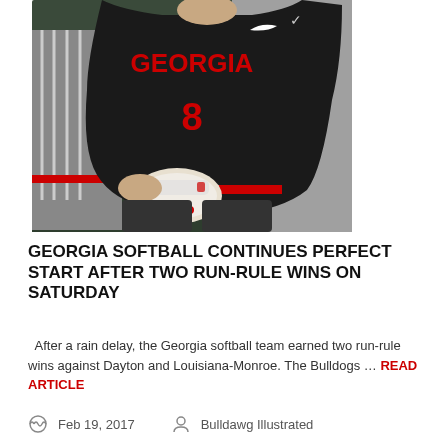[Figure (photo): A Georgia softball player wearing black jersey with red GEORGIA lettering and number 8, high-fiving a coach or teammate. Player is wearing white batting gloves with red accents. Photo taken during a game.]
GEORGIA SOFTBALL CONTINUES PERFECT START AFTER TWO RUN-RULE WINS ON SATURDAY
After a rain delay, the Georgia softball team earned two run-rule wins against Dayton and Louisiana-Monroe. The Bulldogs … READ ARTICLE
Feb 19, 2017   Bulldawg Illustrated